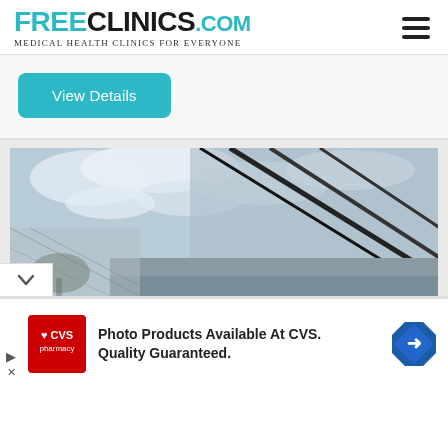FREECLINICS.COM Medical Health Clinics For Everyone
View Details
[Figure (photo): Exterior photo of a building with glass panels reflecting sky and clouds, with a chain-link fence visible in the lower left]
Photo Products Available At CVS. Quality Guaranteed.